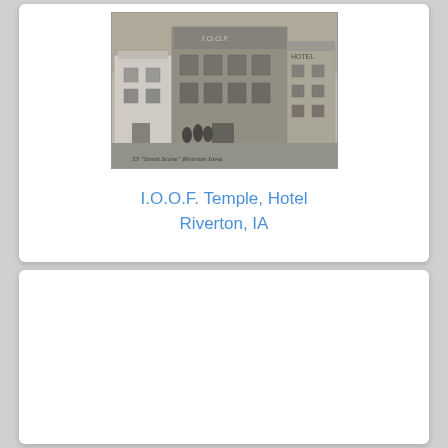[Figure (photo): Vintage black-and-white postcard photograph of the I.O.O.F. Temple and Hotel in Riverton, Iowa. Shows a multi-story brick building with signage, a smaller white building to the left, and a hotel building to the right. People are visible in front. Handwritten caption at the bottom reads: '53 Street Scene Riverton Iowa'.]
I.O.O.F. Temple, Hotel
Riverton, IA